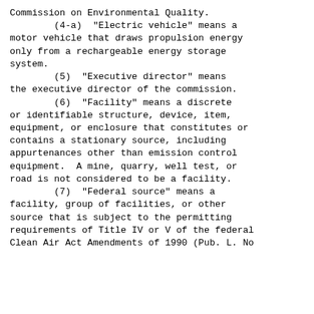Commission on Environmental Quality.
        (4-a)  "Electric vehicle" means a motor vehicle that draws propulsion energy only from a rechargeable energy storage system.
        (5)  "Executive director" means the executive director of the commission.
        (6)  "Facility" means a discrete or identifiable structure, device, item, equipment, or enclosure that constitutes or contains a stationary source, including appurtenances other than emission control equipment.  A mine, quarry, well test, or road is not considered to be a facility.
        (7)  "Federal source" means a facility, group of facilities, or other source that is subject to the permitting requirements of Title IV or V of the federal Clean Air Act Amendments of 1990 (Pub. L. No